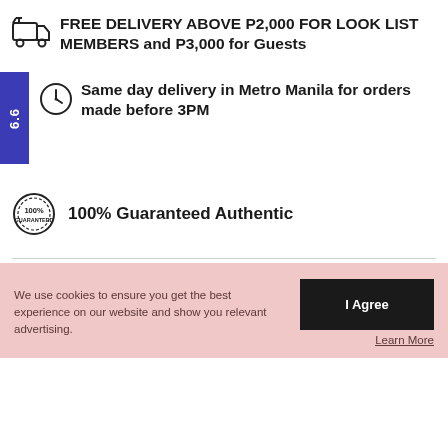FREE DELIVERY ABOVE P2,000 FOR LOOK LIST MEMBERS and P3,000 for Guests
Same day delivery in Metro Manila for orders made before 3PM
100% Guaranteed Authentic
SHARE ON:
We use cookies to ensure you get the best experience on our website and show you relevant advertising.
I Agree
Learn More